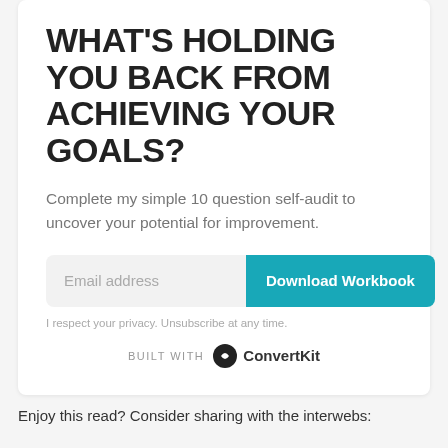WHAT'S HOLDING YOU BACK FROM ACHIEVING YOUR GOALS?
Complete my simple 10 question self-audit to uncover your potential for improvement.
[Figure (other): Email address input field and Download Workbook button in a form row]
I respect your privacy. Unsubscribe at any time.
[Figure (logo): BUILT WITH ConvertKit logo]
Enjoy this read? Consider sharing with the interwebs: